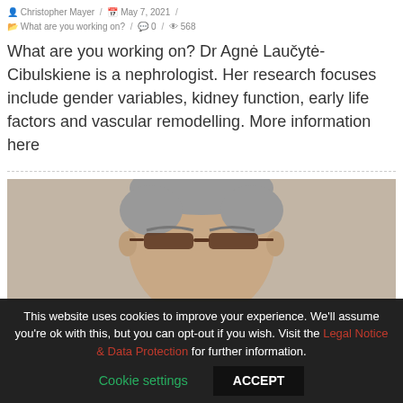Christopher Mayer / May 7, 2021 / What are you working on? / 0 / 568
What are you working on? Dr Agnė Laučytė-Cibulskiene is a nephrologist. Her research focuses include gender variables, kidney function, early life factors and vascular remodelling. More information here
[Figure (photo): Photo of an older man with glasses, partially visible, cropped at the forehead level, with a neutral/beige background.]
This website uses cookies to improve your experience. We'll assume you're ok with this, but you can opt-out if you wish. Visit the Legal Notice & Data Protection for further information. Cookie settings | ACCEPT